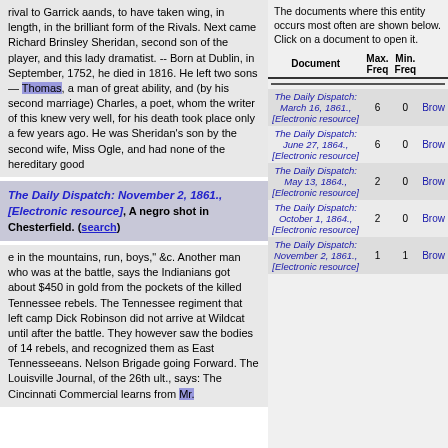rival to Garrick aands, to have taken wing, in length, in the brilliant form of the Rivals. Next came Richard Brinsley Sheridan, second son of the player, and this lady dramatist. -- Born at Dublin, in September, 1752, he died in 1816. He left two sons — Thomas, a man of great ability, and (by his second marriage) Charles, a poet, whom the writer of this knew very well, for his death took place only a few years ago. He was Sheridan's son by the second wife, Miss Ogle, and had none of the hereditary good
The Daily Dispatch: November 2, 1861., [Electronic resource], A negro shot in Chesterfield. (search)
e in the mountains, run, boys," &c. Another man who was at the battle, says the Indianians got about $450 in gold from the pockets of the killed Tennessee rebels. The Tennessee regiment that left camp Dick Robinson did not arrive at Wildcat until after the battle. They however saw the bodies of 14 rebels, and recognized them as East Tennesseeans. Nelson Brigade going Forward. The Louisville Journal, of the 26th ult., says: The Cincinnati Commercial learns from Mr.
The documents where this entity occurs most often are shown below. Click on a document to open it.
| Document | Max. Freq | Min. Freq |  |
| --- | --- | --- | --- |
| The Daily Dispatch: March 16, 1861., [Electronic resource] | 6 | 0 | Brow |
| The Daily Dispatch: June 27, 1864., [Electronic resource] | 6 | 0 | Brow |
| The Daily Dispatch: May 13, 1864., [Electronic resource] | 2 | 0 | Brow |
| The Daily Dispatch: October 1, 1864., [Electronic resource] | 2 | 0 | Brow |
| The Daily Dispatch: November 2, 1861., [Electronic resource] | 1 | 1 | Brow |